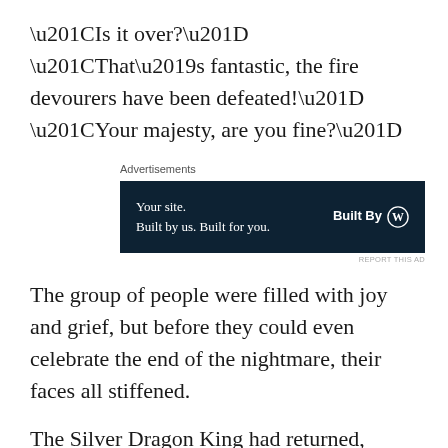“Is it over?” “That’s fantastic, the fire devourers have been defeated!” “Your majesty, are you fine?”
[Figure (other): Advertisement banner: dark navy background with text 'Your site. Built by us. Built for you.' and 'Built By' with WordPress logo]
The group of people were filled with joy and grief, but before they could even celebrate the end of the nightmare, their faces all stiffened.
The Silver Dragon King had returned, bursting through the thick clouds and arriving above Giant Ship island once more. It shone with a silver, cold light, assuming an offensive posture. The pressure it gave off even surpassed the giant god of fire.
Awaking from their nightmare, there was a new nightmare